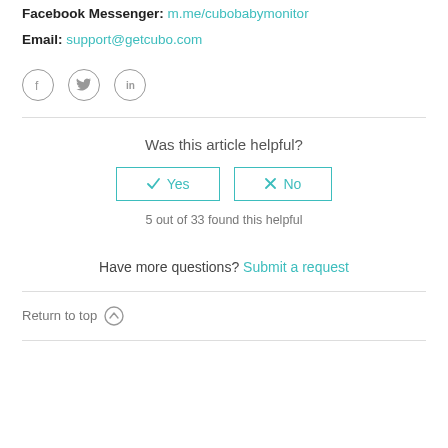Facebook Messenger: m.me/cubobabymonitor
Email: support@getcubo.com
[Figure (illustration): Three social media icon circles: Facebook (f), Twitter (bird), LinkedIn (in)]
Was this article helpful?
Yes  No  (buttons)
5 out of 33 found this helpful
Have more questions? Submit a request
Return to top (up arrow icon)